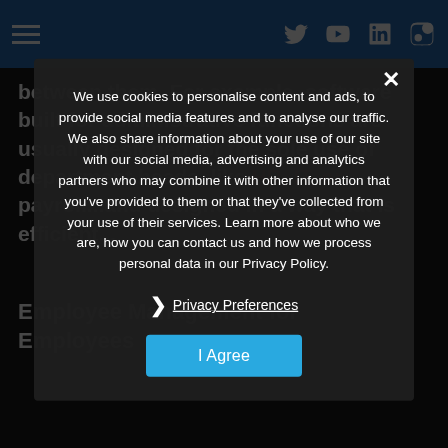[Navigation bar with hamburger menu and social icons: Twitter, YouTube, LinkedIn, Instagram]
between them. For example, software built for administrative functions are usually designed for the sole use of department heads, like HR, IT, or payroll...and designed in a way that is efficient...
Employee Management for Employees
We use cookies to personalise content and ads, to provide social media features and to analyse our traffic. We also share information about your use of our site with our social media, advertising and analytics partners who may combine it with other information that you've provided to them or that they've collected from your use of their services. Learn more about who we are, how you can contact us and how we process personal data in our Privacy Policy.
Privacy Preferences
I Agree